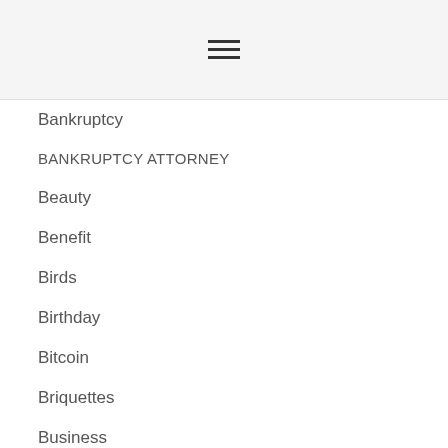≡
Bankruptcy
BANKRUPTCY ATTORNEY
Beauty
Benefit
Birds
Birthday
Bitcoin
Briquettes
Business
Buying guide
Cannabis
Career
Carpet Cleaning